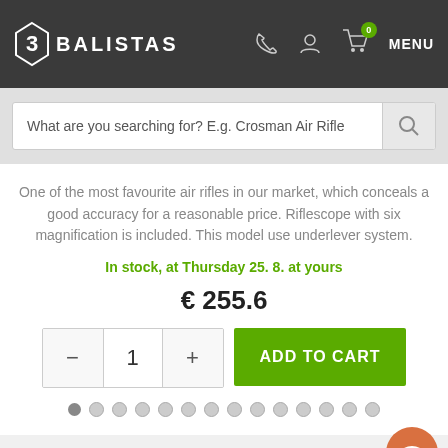BALISTAS
What are you searching for? E.g. Crosman Air Rifle
One of the most favourite air rifles in our market, which conceals a good accuracy for a reasonable price. Riflescope with six magnification is included. This model use underlever system.
In stock, at Thursday 25. 8. at yours
€ 255.6
- 1 + ADD TO CART
OUTDOOR